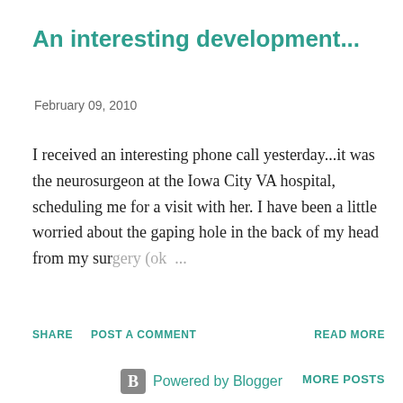An interesting development...
February 09, 2010
I received an interesting phone call yesterday...it was the neurosurgeon at the Iowa City VA hospital, scheduling me for a visit with her. I have been a little worried about the gaping hole in the back of my head from my surgery (ok...
SHARE   POST A COMMENT   READ MORE
MORE POSTS
Powered by Blogger